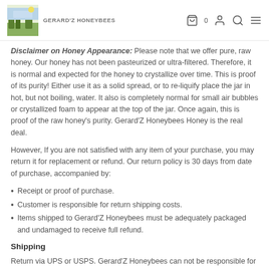GERARD'Z HONEYBEES
Disclaimer on Honey Appearance: Please note that we offer pure, raw honey. Our honey has not been pasteurized or ultra-filtered. Therefore, it is normal and expected for the honey to crystallize over time. This is proof of its purity! Either use it as a solid spread, or to re-liquify place the jar in hot, but not boiling, water. It also is completely normal for small air bubbles or crystallized foam to appear at the top of the jar. Once again, this is proof of the raw honey's purity. Gerard'Z Honeybees Honey is the real deal.
However, If you are not satisfied with any item of your purchase, you may return it for replacement or refund. Our return policy is 30 days from date of purchase, accompanied by:
Receipt or proof of purchase.
Customer is responsible for return shipping costs.
Items shipped to Gerard'Z Honeybees must be adequately packaged and undamaged to receive full refund.
Shipping
Return via UPS or USPS. Gerard'Z Honeybees can not be responsible for packages lost in transit. We advise you to obtain...